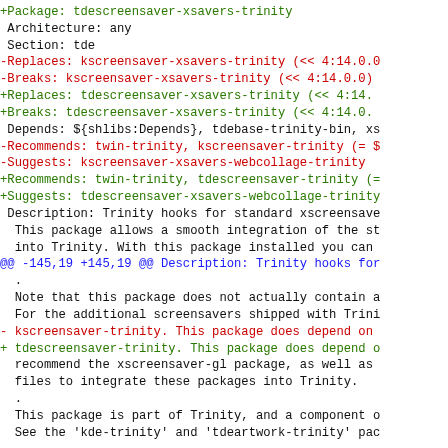diff output showing package rename from kscreensaver-xsavers-trinity to tdescreensaver-xsavers-trinity
@@ -145,19 +145,19 @@ Description: Trinity hooks for
-Package: kscreensaver-xsavers-webcollage-trinity
+Package: tdescreensaver-xsavers-webcollage-trinity
 Architecture: all